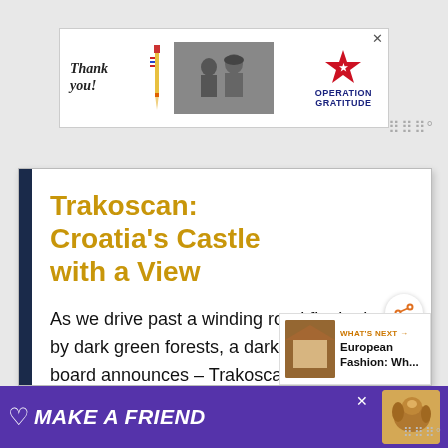[Figure (photo): Thank you advertisement banner with Operation Gratitude branding, showing military personnel and a pencil graphic]
Trakoscan: Croatia's Castle with a View
As we drive past a winding road flanked by dark green forests, a dark brown sign board announces – Trakoscan Castle 2km. It's a bright, warm Sunday, and we've
[Figure (photo): Make A Friend advertisement banner with purple background and basset hound dog image]
[Figure (photo): What's Next promo: European Fashion: Wh...]